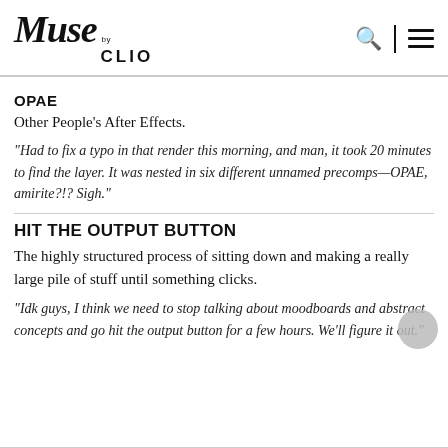Muse by CLIO
OPAE
Other People's After Effects.
"Had to fix a typo in that render this morning, and man, it took 20 minutes to find the layer. It was nested in six different unnamed precomps—OPAE, amirite?!? Sigh."
HIT THE OUTPUT BUTTON
The highly structured process of sitting down and making a really large pile of stuff until something clicks.
"Idk guys, I think we need to stop talking about moodboards and abstract concepts and go hit the output button for a few hours. We'll figure it out."